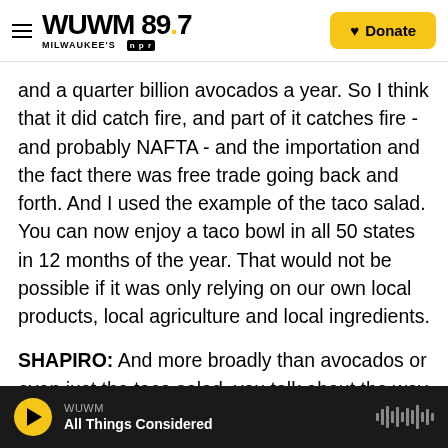WUWM 89.7 Milwaukee's NPR | Donate
and a quarter billion avocados a year. So I think that it did catch fire, and part of it catches fire - and probably NAFTA - and the importation and the fact there was free trade going back and forth. And I used the example of the taco salad. You can now enjoy a taco bowl in all 50 states in 12 months of the year. That would not be possible if it was only relying on our own local products, local agriculture and local ingredients.
SHAPIRO: And more broadly than avocados or even just the taco salad, you talk about the way diversity in supermarkets has just exploded because of
WUWM | All Things Considered